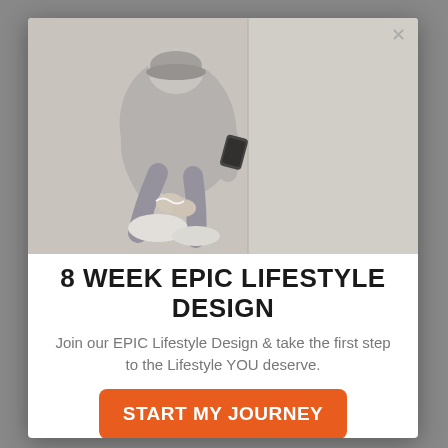[Figure (photo): Overhead view of a person in athletic wear crouching down to tie their white sneaker on a concrete floor, with a phone armband on their arm.]
8 WEEK EPIC LIFESTYLE DESIGN
Join our EPIC Lifestyle Design & take the first step to the Lifestyle YOU deserve.
START MY JOURNEY